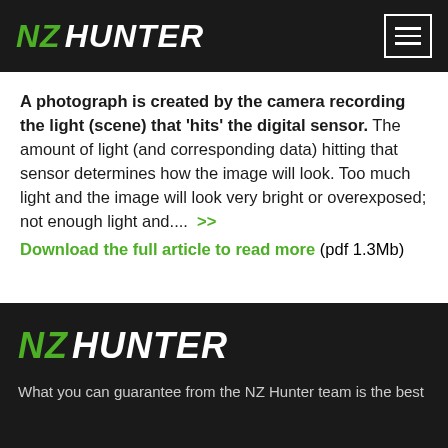NZ HUNTER
A photograph is created by the camera recording the light (scene) that 'hits' the digital sensor. The amount of light (and corresponding data) hitting that sensor determines how the image will look. Too much light and the image will look very bright or overexposed; not enough light and.... >> Download the full article to read more (pdf 1.3Mb)
NZ HUNTER - What you can guarantee from the NZ Hunter team is the best